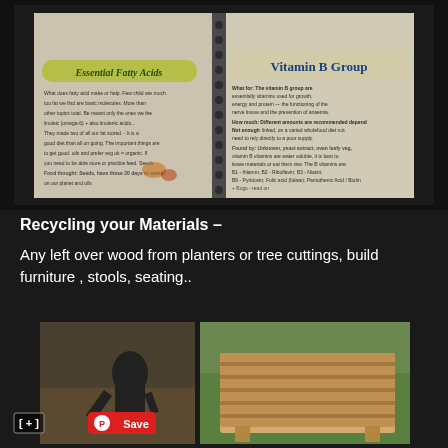[Figure (photo): Open spiral notebook showing handwritten notes with illustrated sections titled 'Essential Fatty Acids' and 'Vitamin B Group' with colorful headers and diagrams of food items]
Recycling your Materials –
Any left over wood from planters or tree cuttings, build furniture , stools, seating..
[Figure (photo): Two photos side by side: left shows a tattooed person working on the ground outdoors; right shows wooden pallet boards arranged as a flat surface on grass, with a Pinterest Save button overlay]